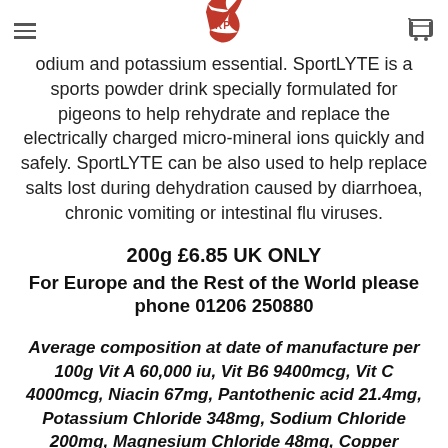[hamburger menu] [RP logo] [cart icon]
odium and potassium essential. SportLYTE is a sports powder drink specially formulated for pigeons to help rehydrate and replace the electrically charged micro-mineral ions quickly and safely. SportLYTE can be also used to help replace salts lost during dehydration caused by diarrhoea, chronic vomiting or intestinal flu viruses.
200g £6.85 UK ONLY
For Europe and the Rest of the World please phone 01206 250880
Average composition at date of manufacture per 100g Vit A 60,000 iu, Vit B6 9400mcg, Vit C 4000mcg, Niacin 67mg, Pantothenic acid 21.4mg, Potassium Chloride 348mg, Sodium Chloride 200mg, Magnesium Chloride 48mg, Copper Sulphate 48mg, Zinc Sulphate 48mg, Manganese Sulphate 48mg, Lysine 80mg, Methionine 48mg